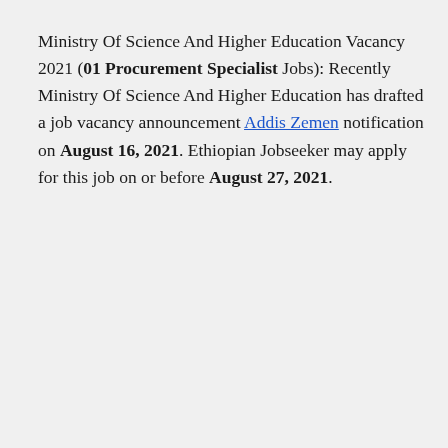Ministry Of Science And Higher Education Vacancy 2021 (01 Procurement Specialist Jobs): Recently Ministry Of Science And Higher Education has drafted a job vacancy announcement Addis Zemen notification on August 16, 2021. Ethiopian Jobseeker may apply for this job on or before August 27, 2021.